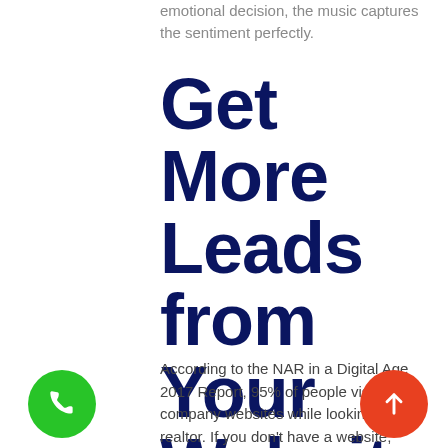emotional decision, the music captures the sentiment perfectly.
Get More Leads from Your Website
According to the NAR in a Digital Age 2017 Report, 95% of people visit company websites while looking for a realtor. If you don't have a website,